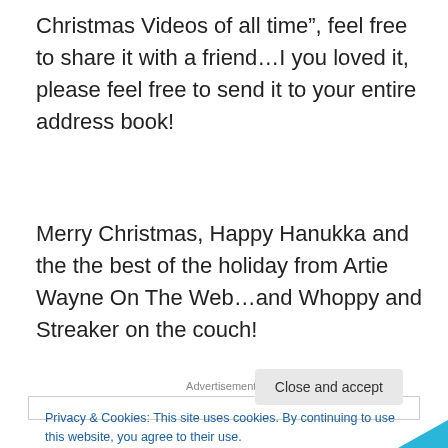Christmas Videos of all time", feel free to share it with a friend…I you loved it, please feel free to send it to your entire address book!
Merry Christmas, Happy Hanukka and the the best of the holiday from Artie Wayne On The Web…and Whoppy and Streaker on the couch!
Advertisements
Privacy & Cookies: This site uses cookies. By continuing to use this website, you agree to their use.
To find out more, including how to control cookies, see here: Cookie Policy